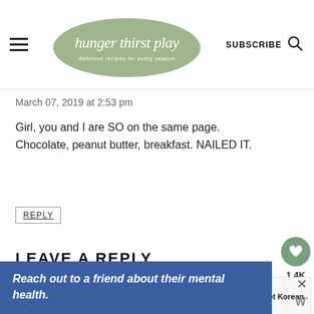hunger thirst play — delicious recipes for every season | SUBSCRIBE
March 07, 2019 at 2:53 pm
Girl, you and I are SO on the same page. Chocolate, peanut butter, breakfast. NAILED IT.
REPLY
LEAVE A REPLY
Your email address will not be published. Required fields are marked *
WHAT'S NEXT → Instant Pot Korean Beef...
Recipe Rating
Reach out to a friend about their mental health.